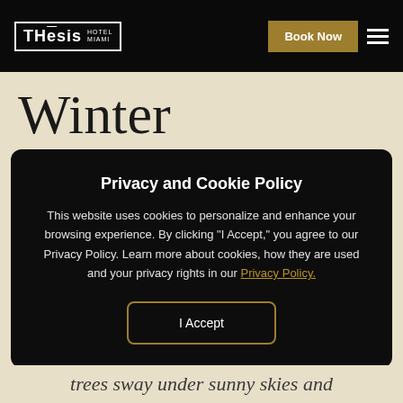THEsis HOTEL MIAMI | Book Now | Navigation
Winter
Privacy and Cookie Policy
This website uses cookies to personalize and enhance your browsing experience. By clicking "I Accept," you agree to our Privacy Policy. Learn more about cookies, how they are used and your privacy rights in our Privacy Policy.
I Accept
trees sway under sunny skies and